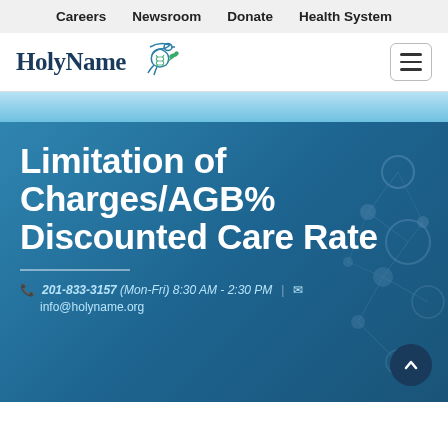Careers  Newsroom  Donate  Health System
[Figure (logo): Holy Name logo with dove/DNA icon and wordmark]
Limitation of Charges/AGB% Discounted Care Rate
201-833-3157 (Mon-Fri) 8:30 AM - 2:30 PM
info@holyname.org